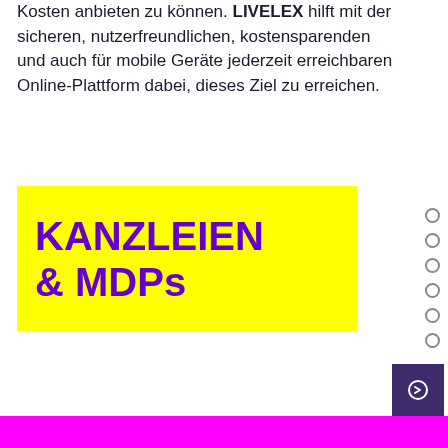Kosten anbieten zu können. LIVELEX hilft mit der sicheren, nutzerfreundlichen, kostensparenden und auch für mobile Geräte jederzeit erreichbaren Online-Plattform dabei, dieses Ziel zu erreichen.
[Figure (other): Yellow rectangle with large purple bold text reading 'KANZLEIEN & MDPs']
[Figure (other): Navigation dots (6 circular outline dots) on the right side]
[Figure (other): Dark purple square button with arrow icon at bottom right]
[Figure (other): Magenta/pink bar at the very bottom of the page]